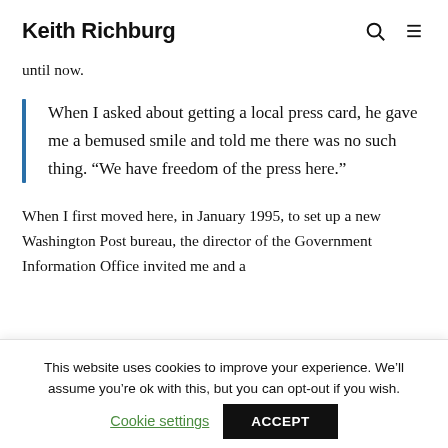Keith Richburg
until now.
When I asked about getting a local press card, he gave me a bemused smile and told me there was no such thing. “We have freedom of the press here.”
When I first moved here, in January 1995, to set up a new Washington Post bureau, the director of the Government Information Office invited me and a
This website uses cookies to improve your experience. We’ll assume you’re ok with this, but you can opt-out if you wish.
Cookie settings   ACCEPT